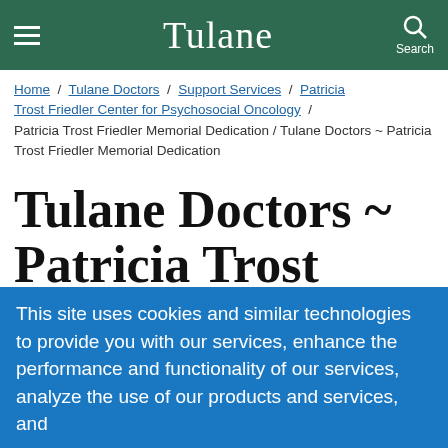Tulane
Home / Tulane Doctors / Support Services / Patricia Trost Friedler Center for Psychosocial Oncology / Patricia Trost Friedler Memorial Dedication / Tulane Doctors ~ Patricia Trost Friedler Memorial Dedication
Tulane Doctors ~ Patricia Trost Friedler Memorial
This site uses cookies and similar technologies to provide you with our services, enhance the performance and functionality of our services, analyze the use of our products and services, and